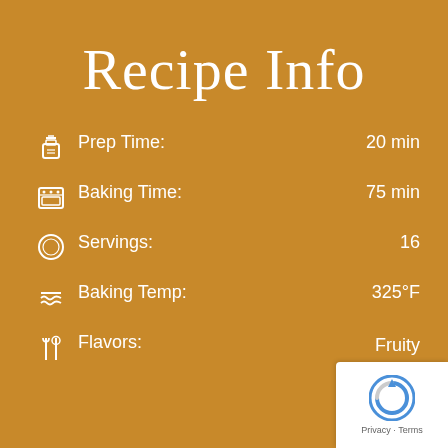Recipe Info
Prep Time: 20 min
Baking Time: 75 min
Servings: 16
Baking Temp: 325°F
Flavors: Fruity Sweet Moist